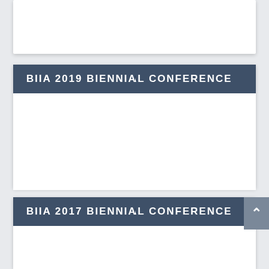BIIA 2019 BIENNIAL CONFERENCE
BIIA 2017 BIENNIAL CONFERENCE